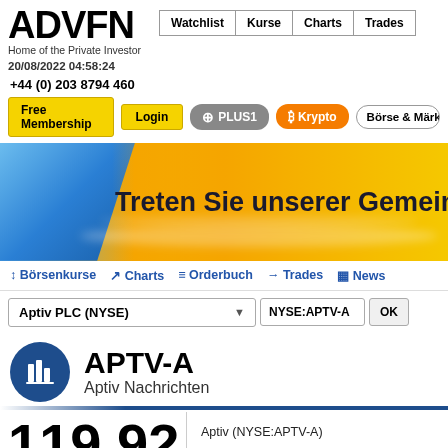[Figure (logo): ADVFN logo with text 'Home of the Private Investor']
20/08/2022 04:58:24
Watchlist | Kurse | Charts | Trades
+44 (0) 203 8794 460
Free Membership | Login | PLUS1 | Krypto | Börse & Märkt
[Figure (illustration): ADVFN promotional banner with blue and gold gradient background and text 'Treten Sie unserer Gemeinschaft bei']
Treten Sie unserer Gemeinschaft bei
↕ Börsenkurse | Charts | Orderbuch | Trades | News
Aptiv PLC (NYSE)
NYSE:APTV-A
APTV-A
Aptiv Nachrichten
119.92
Aptiv (NYSE:APTV-A)
Intraday Stock Chart